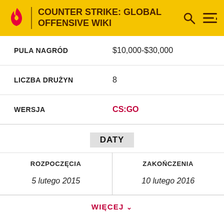COUNTER STRIKE: GLOBAL OFFENSIVE WIKI
|  |  |
| --- | --- |
| PULA NAGRÓD | $10,000-$30,000 |
| LICZBA DRUŻYN | 8 |
| WERSJA | CS:GO |
DATY
| ROZPOCZĘCIA | ZAKOŃCZENIA |
| --- | --- |
| 5 lutego 2015 | 10 lutego 2016 |
WIĘCEJ